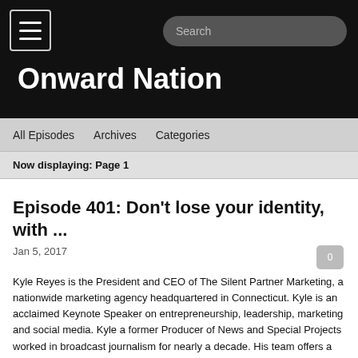Onward Nation
All Episodes  Archives  Categories
Now displaying: Page 1
Episode 401: Don't lose your identity, with ...
Jan 5, 2017
Kyle Reyes is the President and CEO of The Silent Partner Marketing, a nationwide marketing agency headquartered in Connecticut. Kyle is an acclaimed Keynote Speaker on entrepreneurship, leadership, marketing and social media. Kyle a former Producer of News and Special Projects worked in broadcast journalism for nearly a decade. His team offers a marketing one-stop-shop, filling the role of a Chief Marketing Officer and support staff at a fraction of the cost of having to worry about the payroll, taxes, benefits, equipment and training. And he has appeared in multiple media outlets including, Fox & Friends, AOL.com, Yahoo, and Bloomberg Business...